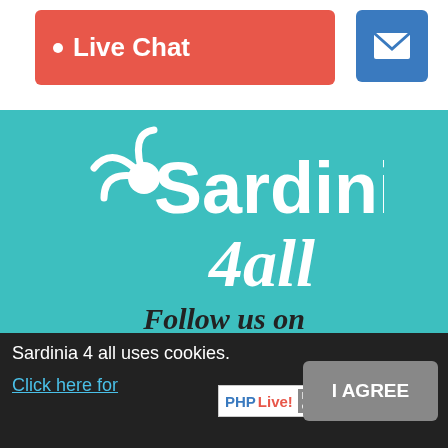[Figure (screenshot): Live Chat button in red/salmon color with white dot and text, and a blue mail envelope icon button]
[Figure (logo): Sardinia 4all logo in white on teal background with sun icon]
Follow us on
[Figure (illustration): Four white social media icons on teal background: Facebook, Instagram, Twitter, Pinterest]
Customer rating
TRUST PILOT
Sardinia 4 all uses cookies.
Click here for
[Figure (screenshot): PHP Live! live chat expired badge]
I AGREE